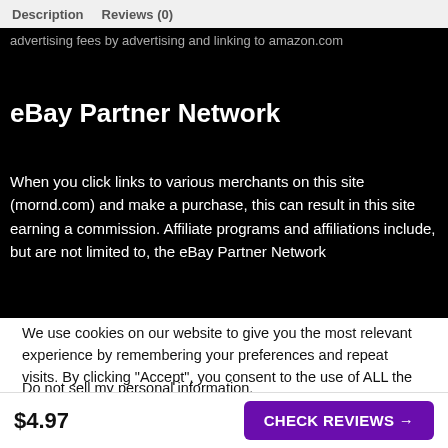Description   Reviews (0)
advertising fees by advertising and linking to amazon.com
eBay Partner Network
When you click links to various merchants on this site (mornd.com) and make a purchase, this can result in this site earning a commission. Affiliate programs and affiliations include, but are not limited to, the eBay Partner Network
We use cookies on our website to give you the most relevant experience by remembering your preferences and repeat visits. By clicking “Accept”, you consent to the use of ALL the cookies.
Do not sell my personal information.
$4.97
CHECK REVIEWS →